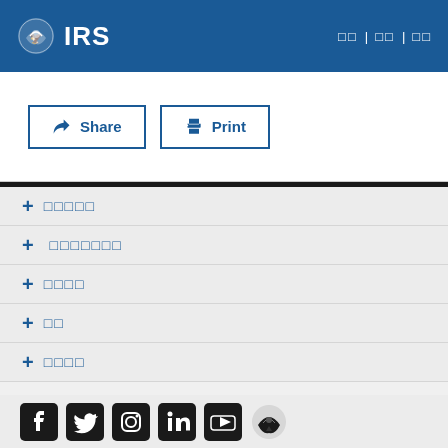IRS | □□ | □□ | □□
Share  Print
+ □□□□□
+  □□□□□□□
+ □□□□
+ □□
+ □□□□
[Figure (logo): Social media icons: Facebook, Twitter, Instagram, LinkedIn, YouTube, IRS logo]